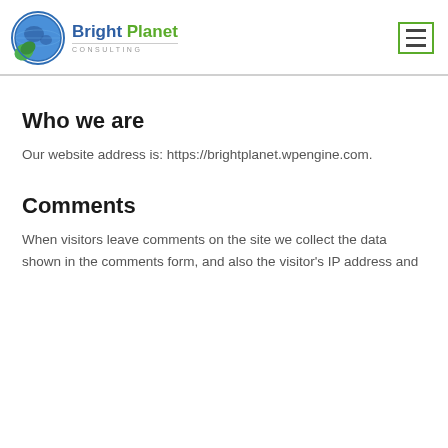[Figure (logo): Bright Planet Consulting logo — globe with green leaf icon on left, text 'Bright Planet' in blue/green bold, 'CONSULTING' in small grey caps below]
Who we are
Our website address is: https://brightplanet.wpengine.com.
Comments
When visitors leave comments on the site we collect the data shown in the comments form, and also the visitor's IP address and